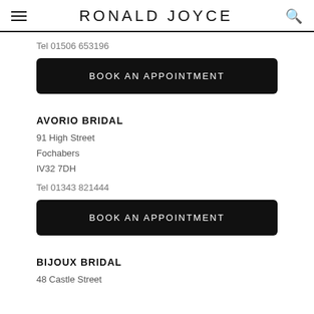RONALD JOYCE
Tel 01506 653196
BOOK AN APPOINTMENT
AVORIO BRIDAL
91 High Street
Fochabers
IV32 7DH
Tel 01343 821444
BOOK AN APPOINTMENT
BIJOUX BRIDAL
48 Castle Street